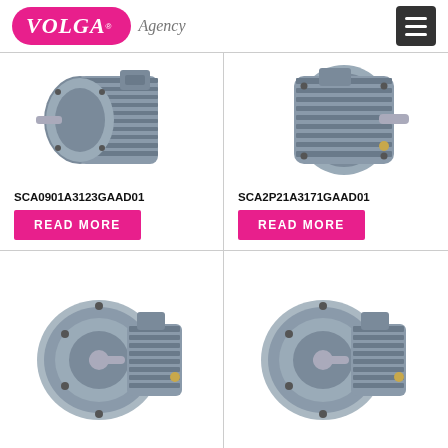[Figure (logo): Volga Agency logo - pink pill-shaped background with white VOLGA text in italic serif, registered trademark symbol, and 'Agency' in grey italic text beside it]
[Figure (photo): Industrial electric motor, dark grey, side-angle view showing flange and shaft, product SCA0901A3123GAAD01]
SCA0901A3123GAAD01
READ MORE
[Figure (photo): Industrial electric motor, dark grey, front-angle view showing cooling fins and shaft, product SCA2P21A3171GAAD01]
SCA2P21A3171GAAD01
READ MORE
[Figure (photo): Industrial electric motor, dark grey, front-face view showing circular flange mount and shaft, bottom-left product]
[Figure (photo): Industrial electric motor, dark grey, front-face view showing circular flange mount and shaft, bottom-right product]